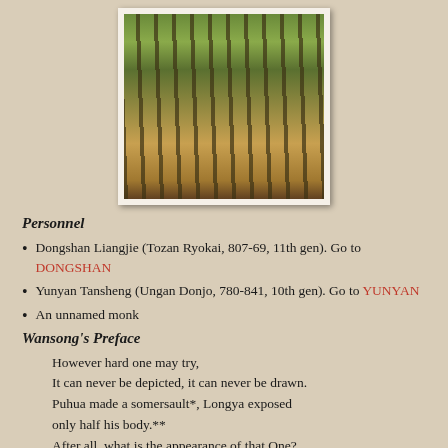[Figure (photo): A Buddhist outdoor ceremony in a forest setting, with robed monks and nuns gathered around an altar. One figure in brown robes stands prominently in the center.]
Personnel
Dongshan Liangjie (Tozan Ryokai, 807-69, 11th gen). Go to DONGSHAN
Yunyan Tansheng (Ungan Donjo, 780-841, 10th gen). Go to YUNYAN
An unnamed monk
Wansong's Preface
However hard one may try,
It can never be depicted, it can never be drawn.
Puhua made a somersault*, Longya exposed only half his body.**
After all, what is the appearance of that One?